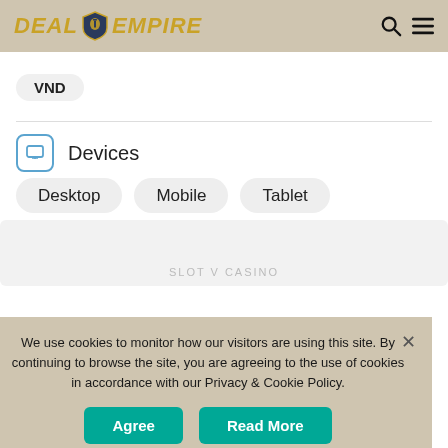DEAL EMPIRE
VND
Devices
Desktop
Mobile
Tablet
SLOT V CASINO
We use cookies to monitor how our visitors are using this site. By continuing to browse the site, you are agreeing to the use of cookies in accordance with our Privacy & Cookie Policy.